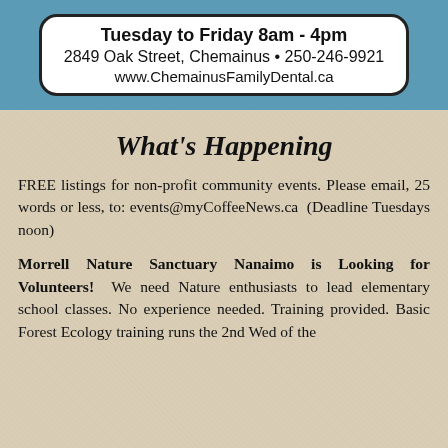Tuesday to Friday 8am - 4pm
2849 Oak Street, Chemainus • 250-246-9921
www.ChemainusFamilyDental.ca
What's Happening
FREE listings for non-profit community events. Please email, 25 words or less, to: events@myCoffeeNews.ca (Deadline Tuesdays noon)
Morrell Nature Sanctuary Nanaimo is Looking for Volunteers! We need Nature enthusiasts to lead elementary school classes. No experience needed. Training provided. Basic Forest Ecology training runs the 2nd Wed of the